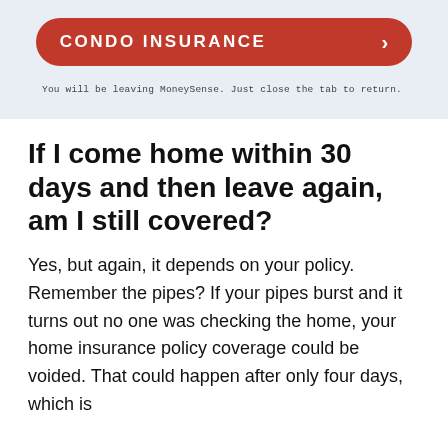[Figure (other): Red pill-shaped button with white uppercase text 'CONDO INSURANCE' and a right-pointing chevron arrow on a light blue background]
You will be leaving MoneySense. Just close the tab to return.
If I come home within 30 days and then leave again, am I still covered?
Yes, but again, it depends on your policy. Remember the pipes? If your pipes burst and it turns out no one was checking the home, your home insurance policy coverage could be voided. That could happen after only four days, which is